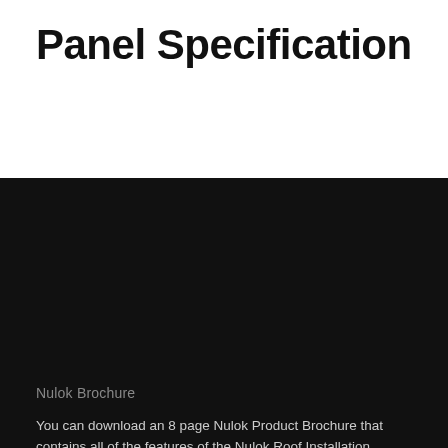Panel Specification
Nulok Brochure
You can download an 8 page Nulok Product Brochure that contains all of the features of the Nulok Roof Installation System along with photographic examples of the installation technique as well as examples of finished roofs. The brochure is updated continuously to reflect new work completed.
READ MORE
Find an Architect